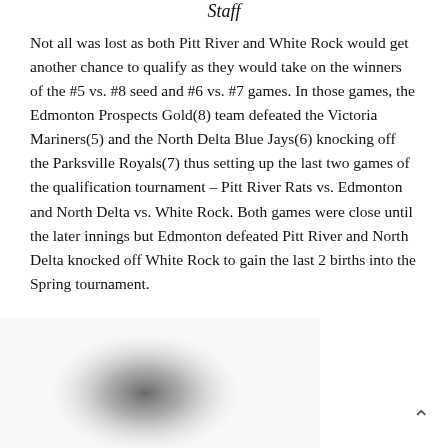...qualifying teams from Coaching Staff
Not all was lost as both Pitt River and White Rock would get another chance to qualify as they would take on the winners of the #5 vs. #8 seed and #6 vs. #7 games. In those games, the Edmonton Prospects Gold(8) team defeated the Victoria Mariners(5) and the North Delta Blue Jays(6) knocking off the Parksville Royals(7) thus setting up the last two games of the qualification tournament – Pitt River Rats vs. Edmonton and North Delta vs. White Rock. Both games were close until the later innings but Edmonton defeated Pitt River and North Delta knocked off White Rock to gain the last 2 births into the Spring tournament.
[Figure (photo): Blurred/obscured photo of people, likely players or coaching staff]
^